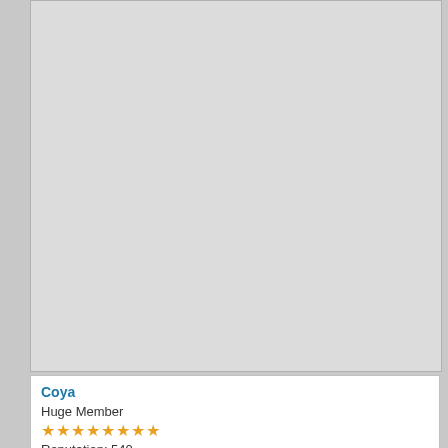[Figure (other): Large gray empty content area representing a forum post body region]
Coya
Huge Member
★★★★★★★★
Reputation: 540
Re: Maxima - 2015 EVENTS
« Reply #302 on: September 24, 2015, 08:13:30 PM »